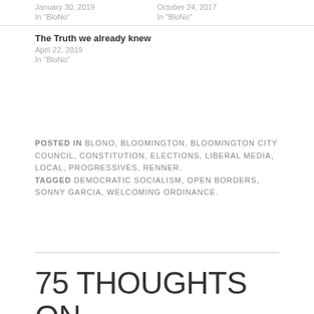January 30, 2019
In "BloNo"
October 24, 2017
In "BloNo"
The Truth we already knew
April 22, 2019
In "BloNo"
POSTED IN BLONO, BLOOMINGTON, BLOOMINGTON CITY COUNCIL, CONSTITUTION, ELECTIONS, LIBERAL MEDIA, LOCAL, PROGRESSIVES, RENNER. TAGGED DEMOCRATIC SOCIALISM, OPEN BORDERS, SONNY GARCIA, WELCOMING ORDINANCE.
75 THOUGHTS ON “BLOOMINGTON IS AT WAR THANKS TO TADI”